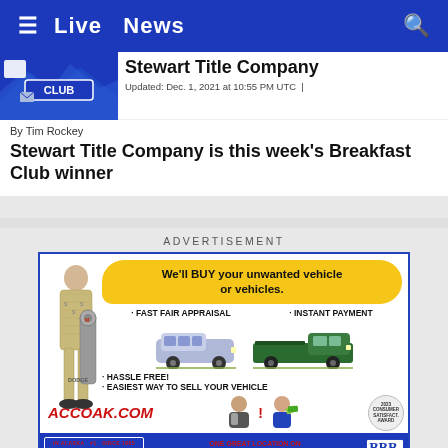≡  Live  News  🔍
[Figure (screenshot): Breakfast Club thumbnail image with blue background and CLUB badge]
Stewart Title Company
Updated: Dec. 1, 2021 at 10:55 PM UTC  |
By Tim Rockey
Stewart Title Company is this week's Breakfast Club winner
ADVERTISEMENT
[Figure (infographic): Advertisement for Anchorage Chrysler Dodge Jeep Ram. We'll BUY your unwanted vehicle or vehicles. Fast Fair Appraisal. Instant Payment. Hassle Free! Easiest Way to Sell Your Vehicle. ACCOAK.COM. One Great Location on East 5th Ave Across from Merrill Field. 276-1331. BBB Accredited Business.]